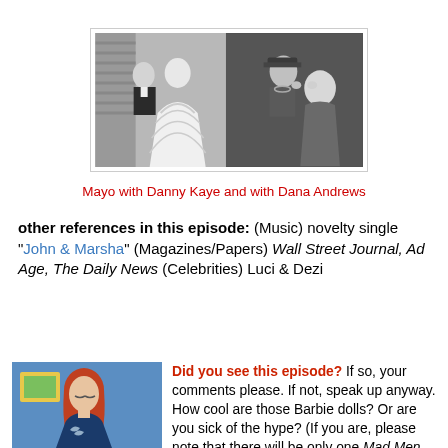[Figure (photo): Two side-by-side black and white film stills: left shows a woman in a white ballgown with a man in a tuxedo, right shows a man in military uniform leaning toward a woman]
Mayo with Danny Kaye and with Dana Andrews
other references in this episode: (Music) novelty single "John & Marsha" (Magazines/Papers) Wall Street Journal, Ad Age, The Daily News (Celebrities) Luci & Dezi
[Figure (photo): Color photo of a woman with red hair looking downward, wearing a dark blue top, with a colorful background]
Did you see this episode? If so, your comments please. If not, speak up anyway. How cool are those Barbie dolls? Or are you sick of the hype? (If you are, please note that there will be only one Mad Men post a